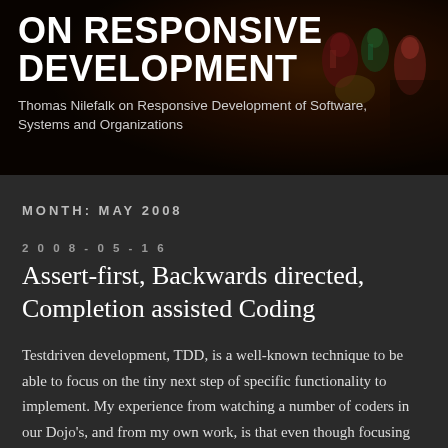[Figure (photo): Dark background banner with colorful figurines/statues visible on the right side, overlaid with blog header text]
ON RESPONSIVE DEVELOPMENT
Thomas Nilefalk on Responsive Development of Software, Systems and Organizations
MONTH: MAY 2008
2008-05-16
Assert-first, Backwards directed, Completion assisted Coding
Testdriven development, TDD, is a well-known technique to be able to focus on the tiny next step of specific functionality to implement. My experience from watching a number of coders in our Dojo's, and from my own work, is that even though focusing on the test is the idea, it is